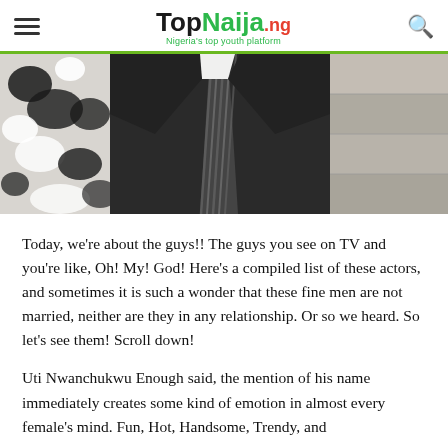TopNaija.ng — Nigeria's top youth platform
[Figure (photo): A man in a dark suit with a striped tie, partial view with a decorative black and white patterned fabric on the left side, stairs/stone wall visible in background]
Today, we're about the guys!! The guys you see on TV and you're like, Oh! My! God! Here's a compiled list of these actors, and sometimes it is such a wonder that these fine men are not married, neither are they in any relationship. Or so we heard. So let's see them! Scroll down!
Uti Nwanchukwu Enough said, the mention of his name immediately creates some kind of emotion in almost every female's mind. Fun, Hot, Handsome, Trendy, and